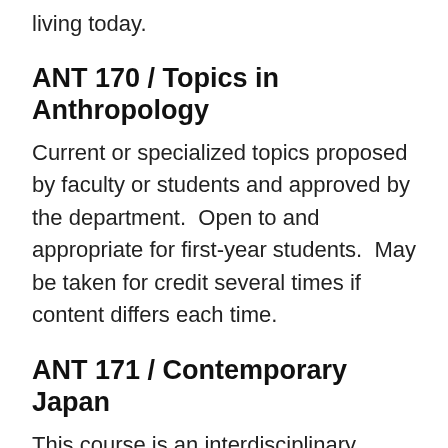living today.
ANT 170 / Topics in Anthropology
Current or specialized topics proposed by faculty or students and approved by the department.  Open to and appropriate for first-year students.  May be taken for credit several times if content differs each time.
ANT 171 / Contemporary Japan
This course is an interdisciplinary survey course that does not require any knowledge of Japanese. Students will learn about Japanese culture, establish connections with other disciplines such as history, sociology